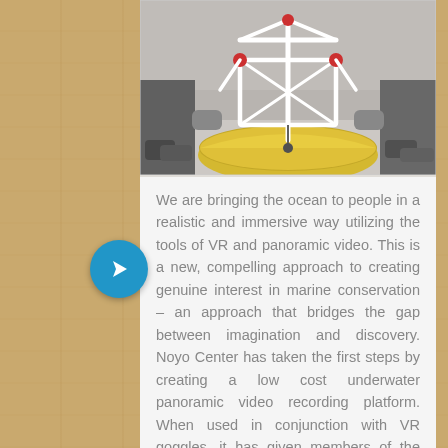[Figure (photo): Black and white / desaturated photo of people holding a yellow kayak with a white PVC pipe frame/rig mounted on it, presumably a panoramic camera mount, on a beach with sandy ground visible.]
We are bringing the ocean to people in a realistic and immersive way utilizing the tools of VR and panoramic video. This is a new, compelling approach to creating genuine interest in marine conservation – an approach that bridges the gap between imagination and discovery. Noyo Center has taken the first steps by creating a low cost underwater panoramic video recording platform. When used in conjunction with VR goggles, it has given members of the public and our school kids the feeling of being in the water (a difficult thing on the north coast with rough seas, cold temperatures, and white sharks!). As we